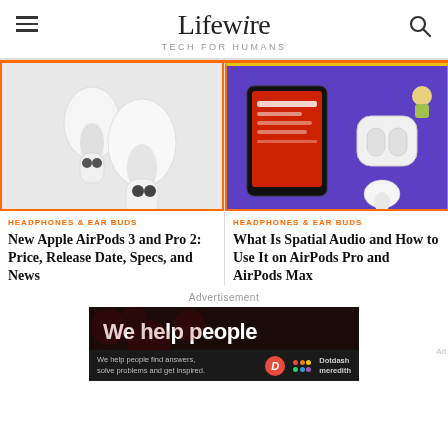Lifewire — TECH FOR HUMANS
[Figure (photo): Apple AirPods 3rd generation on light gray background]
[Figure (photo): Smartphone with music app open next to AirPods Pro case on purple background]
HEADPHONES & EAR BUDS
New Apple AirPods 3 and Pro 2: Price, Release Date, Specs, and News
HEADPHONES & EAR BUDS
What Is Spatial Audio and How to Use It on AirPods Pro and AirPods Max
Advertisement
[Figure (infographic): Dotdash Meredith advertisement banner: 'We help people' with tagline 'We help people find answers, solve problems and get inspired.']